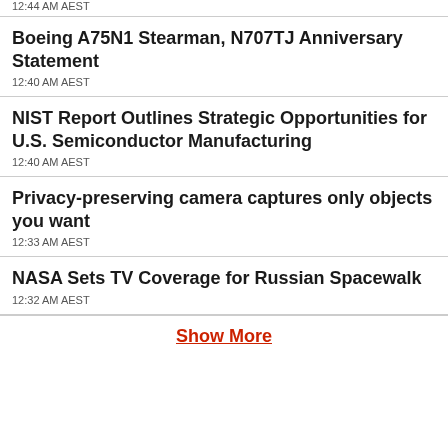12:44 AM AEST
Boeing A75N1 Stearman, N707TJ Anniversary Statement
12:40 AM AEST
NIST Report Outlines Strategic Opportunities for U.S. Semiconductor Manufacturing
12:40 AM AEST
Privacy-preserving camera captures only objects you want
12:33 AM AEST
NASA Sets TV Coverage for Russian Spacewalk
12:32 AM AEST
Show More